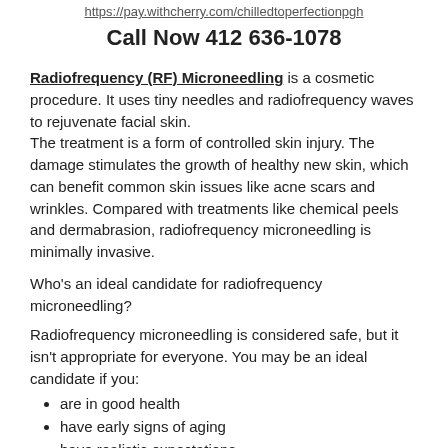https://pay.withcherry.com/chilledtoperfectionpgh
Call Now 412 636-1078
Radiofrequency (RF) Microneedling is a cosmetic procedure. It uses tiny needles and radiofrequency waves to rejuvenate facial skin.
The treatment is a form of controlled skin injury. The damage stimulates the growth of healthy new skin, which can benefit common skin issues like acne scars and wrinkles. Compared with treatments like chemical peels and dermabrasion, radiofrequency microneedling is minimally invasive.
Who’s an ideal candidate for radiofrequency microneedling?
Radiofrequency microneedling is considered safe, but it isn’t appropriate for everyone. You may be an ideal candidate if you:
are in good health
have early signs of aging
have realistic expectations
Alternatively, you should avoid the treatment if you:
currently or recently used Accutane